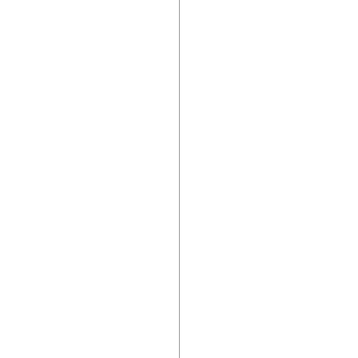Obama to lay down the law on how
[Figure (other): Vertical dividing line separating left blank area from right text area]